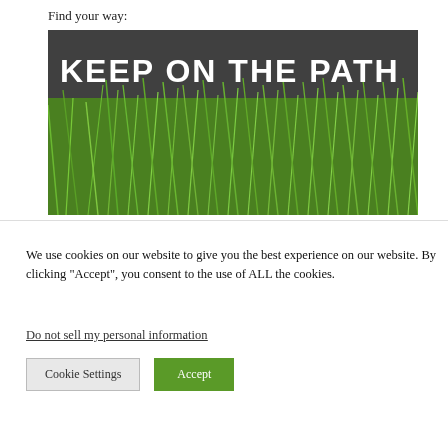wandering and exploring.
Find your way:
[Figure (photo): A photograph showing tall green wild grass with a dark sign overlaid reading 'KEEP ON THE PATH' in large bold white uppercase letters.]
We use cookies on our website to give you the best experience on our website. By clicking “Accept”, you consent to the use of ALL the cookies.
Do not sell my personal information.